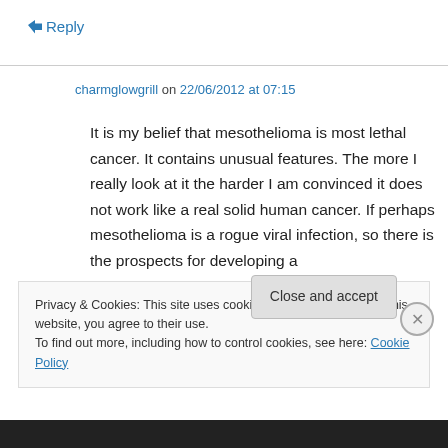↪ Reply
charmglowgrill on 22/06/2012 at 07:15
It is my belief that mesothelioma is most lethal cancer. It contains unusual features. The more I really look at it the harder I am convinced it does not work like a real solid human cancer. If perhaps mesothelioma is a rogue viral infection, so there is the prospects for developing a
Privacy & Cookies: This site uses cookies. By continuing to use this website, you agree to their use.
To find out more, including how to control cookies, see here: Cookie Policy
Close and accept